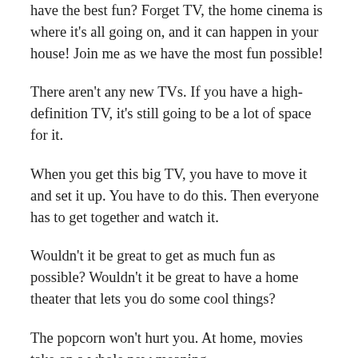have the best fun? Forget TV, the home cinema is where it's all going on, and it can happen in your house! Join me as we have the most fun possible!
There aren't any new TVs. If you have a high-definition TV, it's still going to be a lot of space for it.
When you get this big TV, you have to move it and set it up. You have to do this. Then everyone has to get together and watch it.
Wouldn't it be great to get as much fun as possible? Wouldn't it be great to have a home theater that lets you do some cool things?
The popcorn won't hurt you. At home, movies take on a whole new meaning.
Stick on your favorite gaming console, and you have